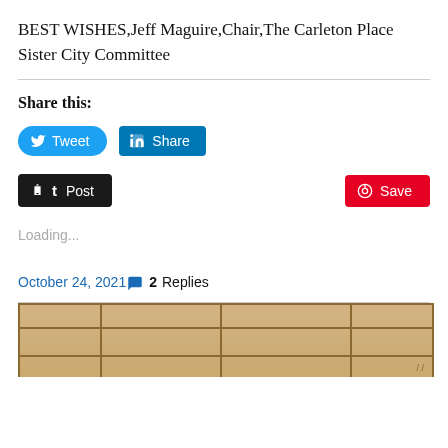BEST WISHES,Jeff Maguire,Chair,The Carleton Place Sister City Committee
Share this:
[Figure (screenshot): Social share buttons: Tweet (Twitter, blue rounded), Share (LinkedIn, blue square), Post (Tumblr, dark), Save (Pinterest, red)]
Loading...
October 24, 2021 — 2 Replies
[Figure (photo): Partial view of a wooden table or panel at the bottom of the page]